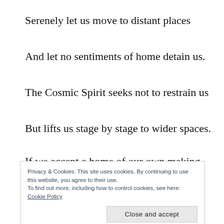Serenely let us move to distant places
And let no sentiments of home detain us.
The Cosmic Spirit seeks not to restrain us
But lifts us stage by stage to wider spaces.
If we accept a home of our own making,
Familiar habit makes for indolence.
Privacy & Cookies: This site uses cookies. By continuing to use this website, you agree to their use.
To find out more, including how to control cookies, see here: Cookie Policy